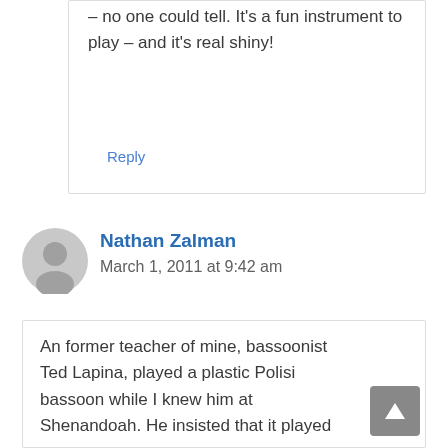– no one could tell. It's a fun instrument to play – and it's real shiny!
Reply
Nathan Zalman
March 1, 2011 at 9:42 am
An former teacher of mine, bassoonist Ted Lapina, played a plastic Polisi bassoon while I knew him at Shenandoah. He insisted that it played